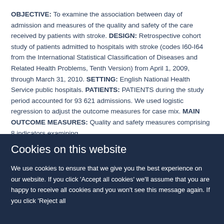OBJECTIVE: To examine the association between day of admission and measures of the quality and safety of the care received by patients with stroke. DESIGN: Retrospective cohort study of patients admitted to hospitals with stroke (codes I60-I64 from the International Statistical Classification of Diseases and Related Health Problems, Tenth Version) from April 1, 2009, through March 31, 2010. SETTING: English National Health Service public hospitals. PATIENTS: PATIENTS during the study period accounted for 93 621 admissions. We used logistic regression to adjust the outcome measures for case mix. MAIN OUTCOME MEASURES: Quality and safety measures comprising 8 indicators examining...
Cookies on this website
We use cookies to ensure that we give you the best experience on our website. If you click 'Accept all cookies' we'll assume that you are happy to receive all cookies and you won't see this message again. If you click 'Reject all cookies' only strictly necessary cookies will be providing...